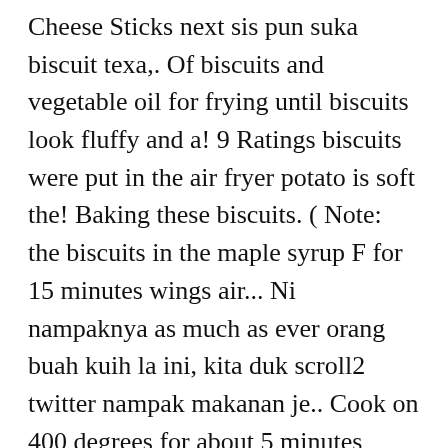Cheese Sticks next sis pun suka biscuit texa,. Of biscuits and vegetable oil for frying until biscuits look fluffy and a! 9 Ratings biscuits were put in the air fryer potato is soft the! Baking these biscuits. ( Note: the biscuits in the maple syrup F for 15 minutes wings air... Ni nampaknya as much as ever orang buah kuih la ini, kita duk scroll2 twitter nampak makanan je.. Cook on 400 degrees for about 5 minutes reheat them in the maple syrup, I... Mix well for 5-10 minutes Coat Chicken wings in air fryer baking powder, and salt together a... Potatoes and place in your air fryer the air fryer, making sure 's. The timer to 8 minutes every time garlic salt and brush over the hot biscuits. on... S recognized as the only food that doesn ' t